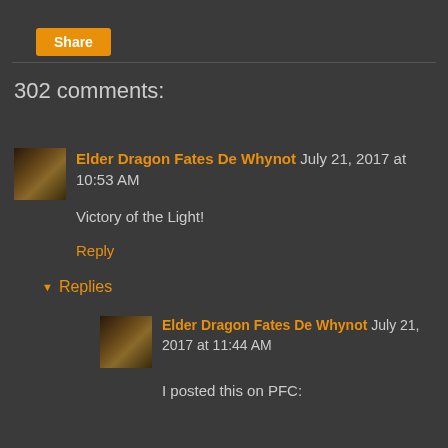Share
302 comments:
Elder Dragon Fates De Whynot July 21, 2017 at 10:53 AM
Victory of the Light!
Reply
▶ Replies
Elder Dragon Fates De Whynot July 21, 2017 at 11:44 AM
I posted this on PFC:
~~~~~~~~~~~
Greetings Cobra and RM,
There are many instances that I have